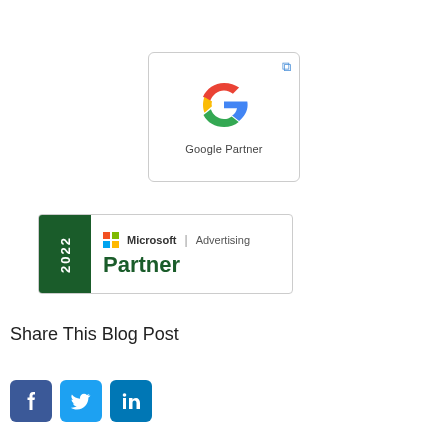[Figure (logo): Google Partner badge with Google 'G' logo and text 'Google Partner', with external link icon in top-right corner]
[Figure (logo): Microsoft Advertising 2022 Partner badge with dark green year strip on left and Microsoft logo with 'Advertising | Partner' text]
Share This Blog Post
[Figure (other): Social media sharing icons: Facebook (blue), Twitter (light blue), LinkedIn (dark blue)]